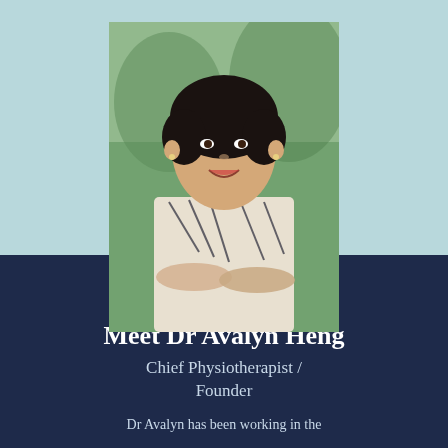[Figure (photo): Professional headshot of Dr Avalyn Heng, a woman with short dark hair, wearing a patterned blouse with arms crossed, smiling outdoors with greenery in the background]
Meet Dr Avalyn Heng
Chief Physiotherapist / Founder
Dr Avalyn has been working in the